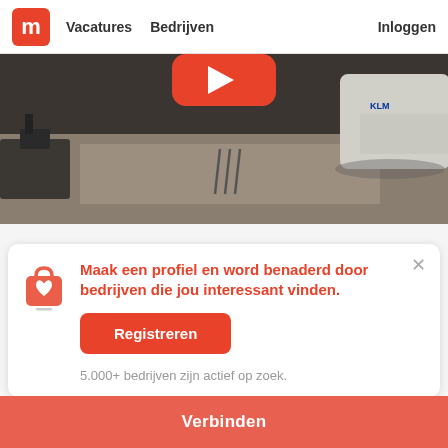m  Vacatures  Bedrijven  Inloggen
[Figure (photo): Airplane hangar or tarmac scene with KLM aircraft, dark atmospheric image with a red play button overlay at top center]
Maak een profiel en word benaderd door bedrijven die jou interessant vinden.
Registreren
5.000+ bedrijven zijn actief op zoek.
Verbinden